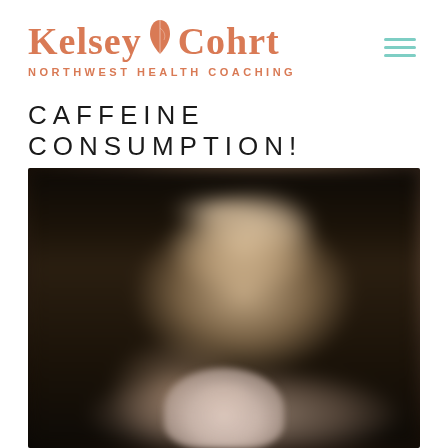[Figure (logo): Kelsey Cohrt Northwest Health Coaching logo in salmon/terracotta color with leaf icon, and teal hamburger menu icon]
CAFFEINE CONSUMPTION!
[Figure (photo): Blurred photo of a blonde woman smiling and holding up a coffee cup toward the camera, dark background]